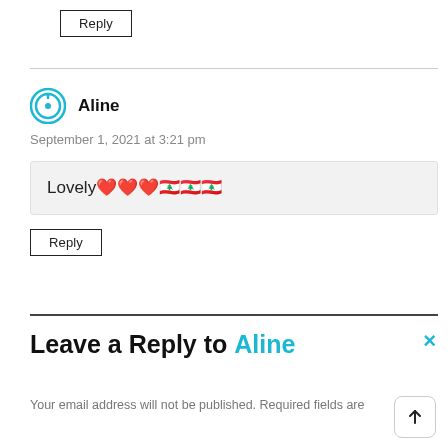Reply
Aline
September 1, 2021 at 3:21 pm
Lovely ❤❤❤🇱🇧🇱🇧🇱🇧
Reply
Leave a Reply to Aline
Your email address will not be published. Required fields are marked *